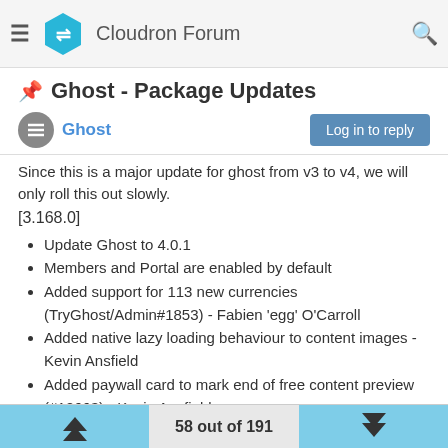Cloudron Forum
📌 Ghost - Package Updates
Ghost   Log in to reply
Since this is a major update for ghost from v3 to v4, we will only roll this out slowly.
[3.168.0]
Update Ghost to 4.0.1
Members and Portal are enabled by default
Added support for 113 new currencies (TryGhost/Admin#1853) - Fabien 'egg' O'Carroll
Added native lazy loading behaviour to content images - Kevin Ansfield
Added paywall card to mark end of free content preview (#12663) - Kevin Ansfield
Added ability to make image cards links - Kevin Ansfield
Added accent color CSS variable to {{ghost_head}} (#12717)
58 out of 191